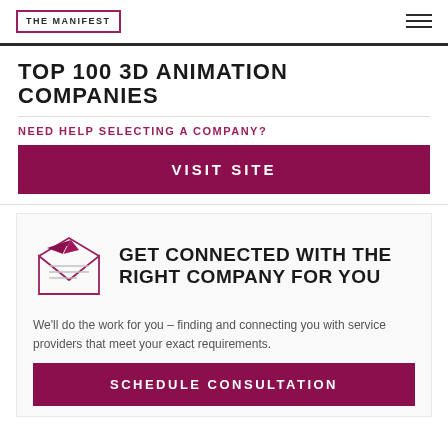THE MANIFEST
TOP 100 3D ANIMATION COMPANIES
NEED HELP SELECTING A COMPANY?
VISIT SITE
[Figure (illustration): Envelope with paper airplane icon in dark pink/maroon color]
GET CONNECTED WITH THE RIGHT COMPANY FOR YOU
We'll do the work for you – finding and connecting you with service providers that meet your exact requirements.
SCHEDULE CONSULTATION